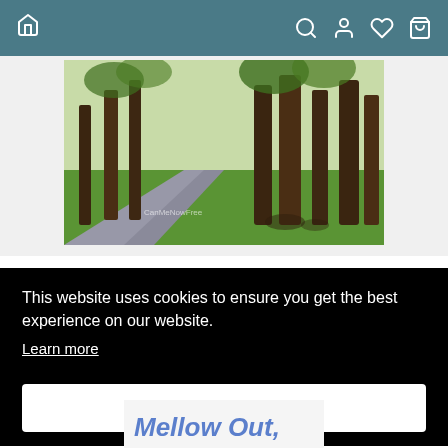Navigation bar with home, search, account, wishlist, and cart icons
[Figure (photo): Book cover or product image showing a winding path through tall trees with green grass, a nature scene]
The Essential Guidebook for Parents of
This website uses cookies to ensure you get the best experience on our website.
Learn more
Got it!
[Figure (photo): Partial book cover showing colorful text 'Mellow Out,' at the bottom of the page]